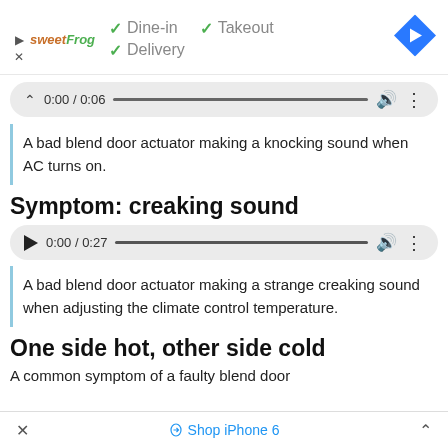[Figure (screenshot): Ad banner with sweetFrog logo, checkmarks for Dine-in, Takeout, Delivery, and a blue navigation arrow icon]
[Figure (screenshot): Audio player showing 0:00 / 0:06 with collapsed state (chevron up)]
A bad blend door actuator making a knocking sound when AC turns on.
Symptom: creaking sound
[Figure (screenshot): Audio player showing 0:00 / 0:27 with play button]
A bad blend door actuator making a strange creaking sound when adjusting the climate control temperature.
One side hot, other side cold
A common symptom of a faulty blend door
× Shop iPhone 6 ^